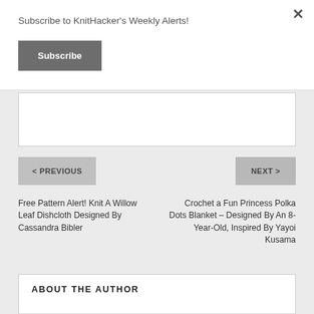Subscribe to KnitHacker's Weekly Alerts!
Subscribe
< PREVIOUS
NEXT >
Free Pattern Alert! Knit A Willow Leaf Dishcloth Designed By Cassandra Bibler
Crochet a Fun Princess Polka Dots Blanket – Designed By An 8-Year-Old, Inspired By Yayoi Kusama
ABOUT THE AUTHOR